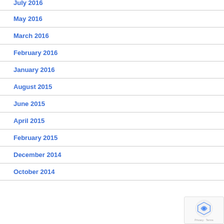July 2016
May 2016
March 2016
February 2016
January 2016
August 2015
June 2015
April 2015
February 2015
December 2014
October 2014